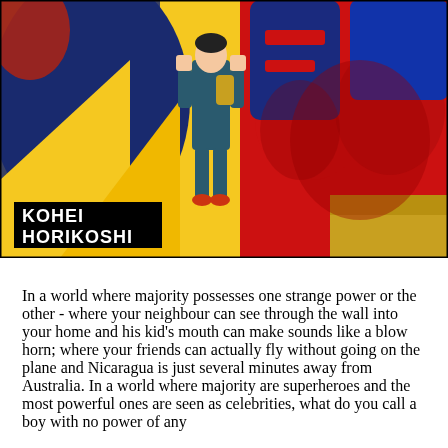[Figure (illustration): Comic book style illustration showing a small figure of Kohei Horikoshi (the manga artist) standing in front of large superhero characters. Yellow background with comic-style coloring. A name label reading 'KOHEI HORIKOSHI' appears in the lower left in bold white text on black background.]
In a world where majority possesses one strange power or the other - where your neighbour can see through the wall into your home and his kid's mouth can make sounds like a blow horn; where your friends can actually fly without going on the plane and Nicaragua is just several minutes away from Australia. In a world where majority are superheroes and the most powerful ones are seen as celebrities, what do you call a boy with no power of any